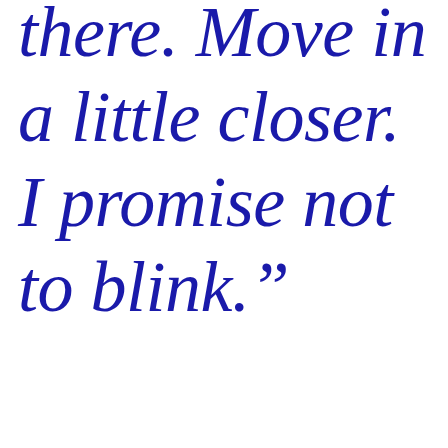there. Move in a little closer. I promise not to blink.”